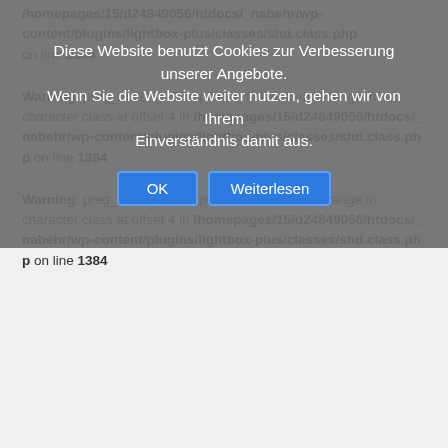Diese Website benutzt Cookies zur Verbesserung unserer Angebote. Wenn Sie die Website weiter nutzen, gehen wir von Ihrem Einverständnis damit aus.
OK | Weiterlesen
/homepages/15/d24849056/htdocs/_nabehr/wp-content/plugins/lightbox-plus/classes/shd.class.php on line 1384
Warning: preg_match(): Compilation failed: invalid range in character class at offset 4 in /homepages/15/d24849056/htdocs/_nabehr/wp-content/plugins/lightbox-plus/classes/shd.class.php on line 1384
Warning: preg_match(): Compilation failed: invalid range in character class at offset 4 in /homepages/15/d24849056/htdocs/_nabehr/wp-content/plugins/lightbox-plus/classes/shd.class.php on line 1384